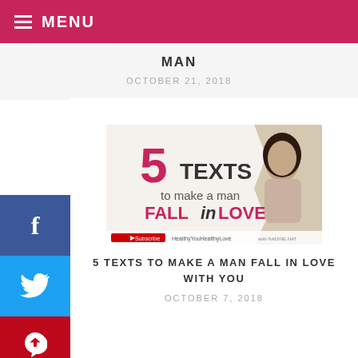MENU
MAN
OCTOBER 21, 2018
[Figure (photo): YouTube thumbnail for '5 Texts to Make a Man Fall in Love' by HealthyYouHealthyLove featuring a woman with long dark hair smiling, with bold text overlay.]
5 TEXTS TO MAKE A MAN FALL IN LOVE WITH YOU
OCTOBER 7, 2018